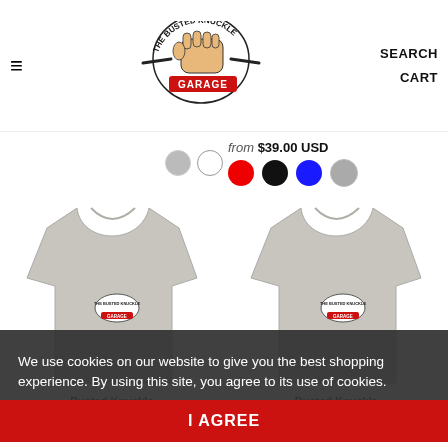The Busted Knuckle Garage — SEARCH CART
from $39.00 USD
[Figure (photo): Two grey t-shirts with Busted Knuckle Garage logo, front and back view]
We use cookies on our website to give you the best shopping experience. By using this site, you agree to its use of cookies.
Busted Knuckle
Busted Knuckle
I AGREE
from $39.00 USD
from $39.00 USD